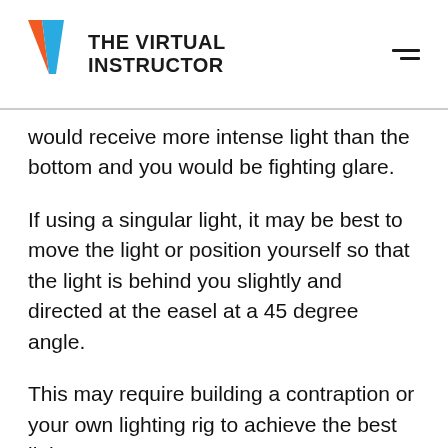THE VIRTUAL INSTRUCTOR
would receive more intense light than the bottom and you would be fighting glare.
If using a singular light, it may be best to move the light or position yourself so that the light is behind you slightly and directed at the easel at a 45 degree angle.
This may require building a contraption or your own lighting rig to achieve the best light.
I have found however that using two lights, one on either side, works well without having